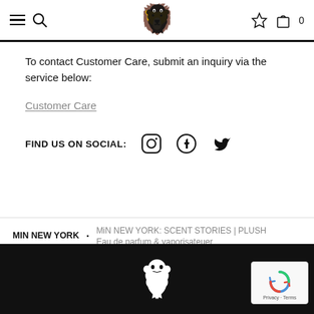Navigation bar with hamburger menu, search, lion logo, star/wishlist icon, bag icon with 0
To contact Customer Care, submit an inquiry via the service below:
Customer Care
FIND US ON SOCIAL:
MIN NEW YORK · MiN NEW YORK: SCENT STORIES | PLUSH Eau de parfum & vaporisateuer
[Figure (other): White lion/griffin heraldic logo on black footer background]
[Figure (other): reCAPTCHA badge with rotating arrows icon and Privacy - Terms text]